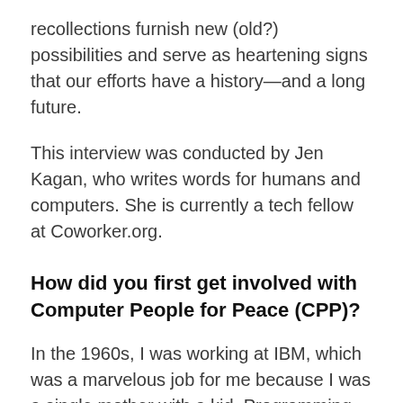recollections furnish new (old?) possibilities and serve as heartening signs that our efforts have a history—and a long future.
This interview was conducted by Jen Kagan, who writes words for humans and computers. She is currently a tech fellow at Coworker.org.
How did you first get involved with Computer People for Peace (CPP)?
In the 1960s, I was working at IBM, which was a marvelous job for me because I was a single mother with a kid. Programming was the only